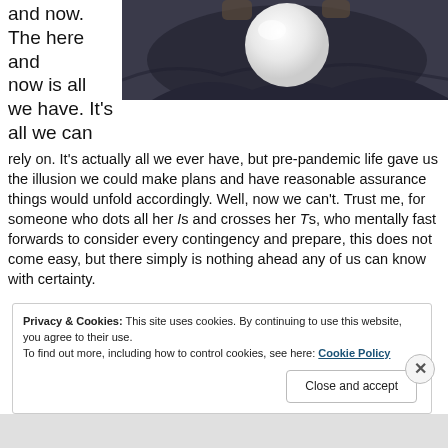and now. The here and now is all we have. It's all we can
[Figure (photo): A glowing white crystal ball resting on dark fabric, held by hands in the background]
rely on. It's actually all we ever have, but pre-pandemic life gave us the illusion we could make plans and have reasonable assurance things would unfold accordingly. Well, now we can't. Trust me, for someone who dots all her Is and crosses her Ts, who mentally fast forwards to consider every contingency and prepare, this does not come easy, but there simply is nothing ahead any of us can know with certainty.
Privacy & Cookies: This site uses cookies. By continuing to use this website, you agree to their use.
To find out more, including how to control cookies, see here: Cookie Policy
Close and accept